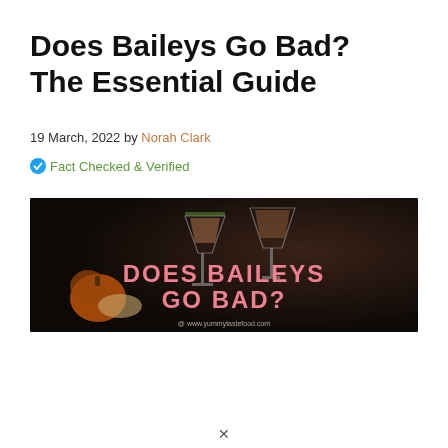Does Baileys Go Bad? The Essential Guide
19 March, 2022 by Norah Clark
Fact Checked & Verified
[Figure (photo): Dark background image showing cocktail glasses with cream liqueur and pumpkins, with pink text overlay reading 'DOES BAILEYS GO BAD?' and website www.yummytastefood.com]